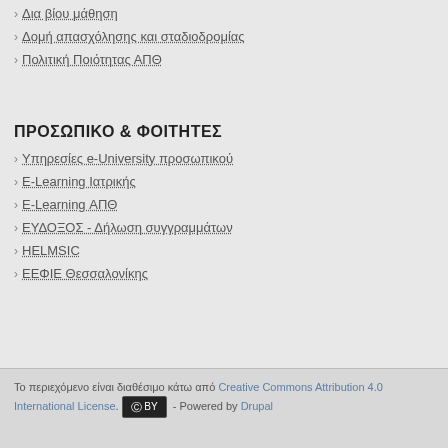Δια βίου μάθηση
Δομή απασχόλησης και σταδιοδρομίας
Πολιτική Ποιότητας ΑΠΘ
ΠΡΟΣΩΠΙΚΟ & ΦΟΙΤΗΤΕΣ
Υπηρεσίες e-University προσωπικού
E-Learning Ιατρικής
E-Learning ΑΠΘ
ΕΥΔΟΞΟΣ - Δήλωση συγγραμμάτων
HELMSIC
ΕΕΦΙΕ Θεσσαλονίκης
Το περιεχόμενο είναι διαθέσιμο κάτω από Creative Commons Attribution 4.0 International License. [cc-by] - Powered by Drupal